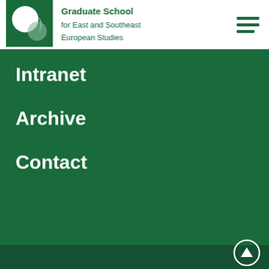[Figure (logo): Graduate School for East and Southeast European Studies logo — green square with white circle and grey arc]
Graduate School for East and Southeast European Studies
Intranet
Archive
Contact